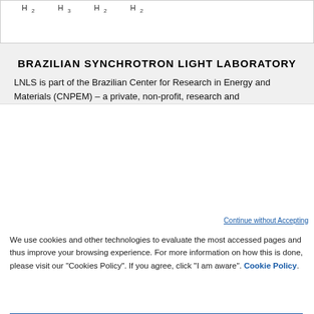[Figure (illustration): Partial chemical structure diagram with H subscript labels visible at top]
BRAZILIAN SYNCHROTRON LIGHT LABORATORY
LNLS is part of the Brazilian Center for Research in Energy and Materials (CNPEM) – a private, non-profit, research and
Continue without Accepting
We use cookies and other technologies to evaluate the most accessed pages and thus improve your browsing experience. For more information on how this is done, please visit our "Cookies Policy". If you agree, click "I am aware". Cookie Policy
Cookies Settings
Reject All
I am aware